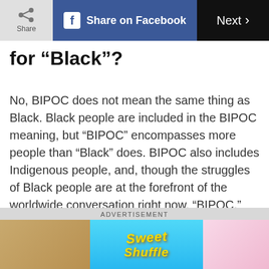Share | Share on Facebook | Next >
for “Black”?
No, BIPOC does not mean the same thing as Black. Black people are included in the BIPOC meaning, but “BIPOC” encompasses more people than “Black” does. BIPOC also includes Indigenous people, and, though the struggles of Black people are at the forefront of the worldwide conversation right now, “BIPOC,” when used correctly, always includes Indigenous people as well.
[Figure (screenshot): Advertisement banner for Sweet Shuffle game with colorful candy graphics]